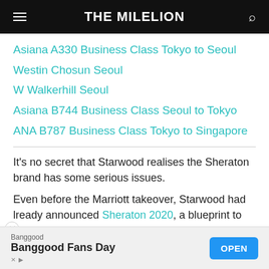THE MILELION
Asiana A330 Business Class Tokyo to Seoul
Westin Chosun Seoul
W Walkerhill Seoul
Asiana B744 Business Class Seoul to Tokyo
ANA B787 Business Class Tokyo to Singapore
It’s no secret that Starwood realises the Sheraton brand has some serious issues.
Even before the Marriott takeover, Starwood had lready announced Sheraton 2020, a blueprint to